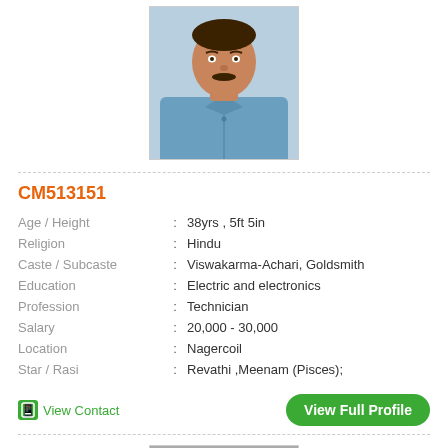[Figure (photo): Passport-style photo of a man in a blue shirt with a moustache]
CM513151
| Age / Height | : | 38yrs , 5ft 5in |
| Religion | : | Hindu |
| Caste / Subcaste | : | Viswakarma-Achari, Goldsmith |
| Education | : | Electric and electronics |
| Profession | : | Technician |
| Salary | : | 20,000 - 30,000 |
| Location | : | Nagercoil |
| Star / Rasi | : | Revathi ,Meenam (Pisces); |
View Contact
View Full Profile
[Figure (photo): Partial photo of another person at the bottom of the page]